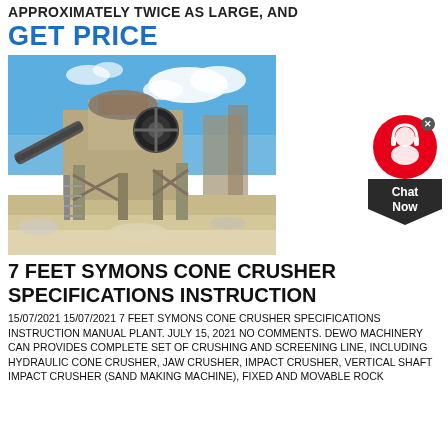APPROXIMATELY TWICE AS LARGE, AND
GET PRICE
[Figure (photo): Outdoor photo of a large industrial cone crusher and screening plant with conveyor belts, metal framework, and stairs, under a blue sky with white clouds.]
7 FEET SYMONS CONE CRUSHER SPECIFICATIONS INSTRUCTION
15/07/2021 15/07/2021 7 FEET SYMONS CONE CRUSHER SPECIFICATIONS INSTRUCTION MANUAL PLANT. JULY 15, 2021 NO COMMENTS. DEWO MACHINERY CAN PROVIDES COMPLETE SET OF CRUSHING AND SCREENING LINE, INCLUDING HYDRAULIC CONE CRUSHER, JAW CRUSHER, IMPACT CRUSHER, VERTICAL SHAFT IMPACT CRUSHER (SAND MAKING MACHINE), FIXED AND MOVABLE ROCK